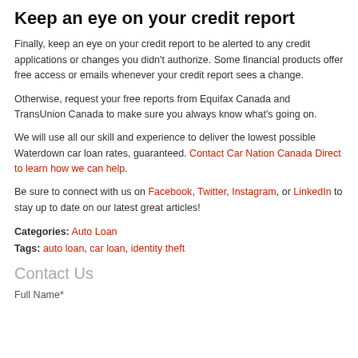Keep an eye on your credit report
Finally, keep an eye on your credit report to be alerted to any credit applications or changes you didn’t authorize. Some financial products offer free access or emails whenever your credit report sees a change.
Otherwise, request your free reports from Equifax Canada and TransUnion Canada to make sure you always know what’s going on.
We will use all our skill and experience to deliver the lowest possible Waterdown car loan rates, guaranteed. Contact Car Nation Canada Direct to learn how we can help.
Be sure to connect with us on Facebook, Twitter, Instagram, or LinkedIn to stay up to date on our latest great articles!
Categories: Auto Loan
Tags: auto loan, car loan, identity theft
Contact Us
Full Name*